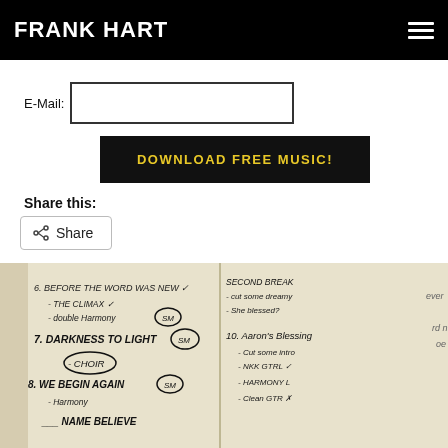FRANK HART
E-Mail:
DOWNLOAD FREE MUSIC!
Share this:
Share
[Figure (photo): Photograph of handwritten music production notes on paper, showing song titles and annotations including 'DARKNESS TO LIGHT', 'WE BEGIN AGAIN', 'Aaron's Blessing', and other notes with circled markings.]